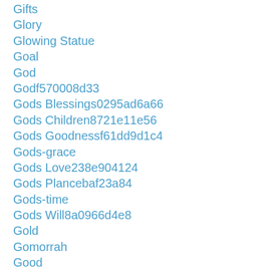Gifts
Glory
Glowing Statue
Goal
God
Godf570008d33
Gods Blessings0295ad6a66
Gods Children8721e11e56
Gods Goodnessf61dd9d1c4
Gods-grace
Gods Love238e904124
Gods Plancebaf23a84
Gods-time
Gods Will8a0966d4e8
Gold
Gomorrah
Good
Good And Evil
Good-deeds
Good Example
Good Friday